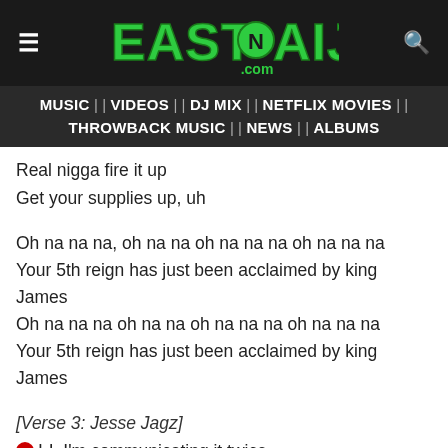EASTNAIJA.com
MUSIC || VIDEOS || DJ MIX || NETFLIX MOVIES || THROWBACK MUSIC || NEWS || ALBUMS
Real nigga fire it up
Get your supplies up, uh
Oh na na na, oh na na oh na na na oh na na na
Your 5th reign has just been acclaimed by king James
Oh na na na oh na na oh na na na oh na na na
Your 5th reign has just been acclaimed by king James
[Verse 3: Jesse Jagz]
I-I, I'm communicating it twice
The mic is ma teleportation device
I's wise, cause all they creating is lies
I fly through my gas station in the skies